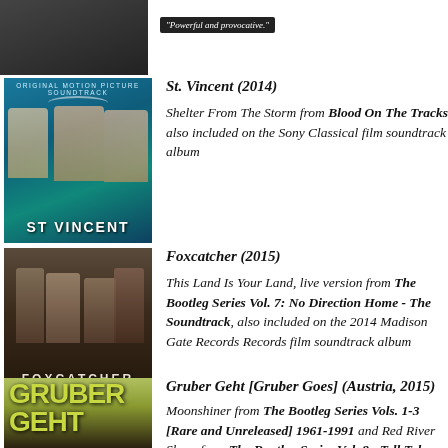[Figure (photo): Partial movie cover at top of page with quote 'Powerful and provocative.']
[Figure (photo): St. Vincent (2014) Original Motion Picture Soundtrack cover showing three actors]
St. Vincent (2014)
Shelter From The Storm from Blood On The Tracks, also included on the Sony Classical film soundtrack album
[Figure (photo): Foxcatcher (2015) movie cover showing actors with rackets]
Foxcatcher (2015)
This Land Is Your Land, live version from The Bootleg Series Vol. 7: No Direction Home - The Soundtrack, also included on the 2014 Madison Gate Records Records film soundtrack album
[Figure (photo): Gruber Geht (Austria, 2015) movie cover with large green text]
Gruber Geht [Gruber Goes] (Austria, 2015)
Moonshiner from The Bootleg Series Vols. 1-3 [Rare and Unreleased] 1961-1991 and Red River Shore from The Bootleg Series Vol. 8 - Tell Tale Signs...